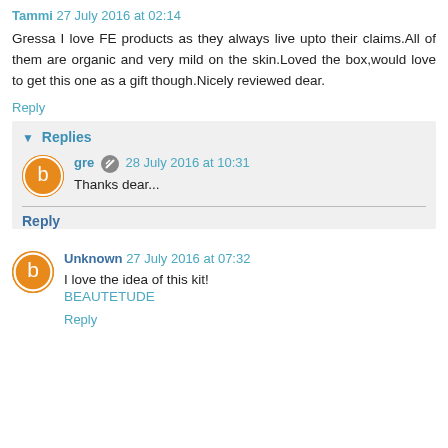Tammi 27 July 2016 at 02:14
Gressa I love FE products as they always live upto their claims.All of them are organic and very mild on the skin.Loved the box,would love to get this one as a gift though.Nicely reviewed dear.
Reply
Replies
gre 28 July 2016 at 10:31
Thanks dear...
Reply
Unknown 27 July 2016 at 07:32
I love the idea of this kit!
BEAUTETUDE
Reply